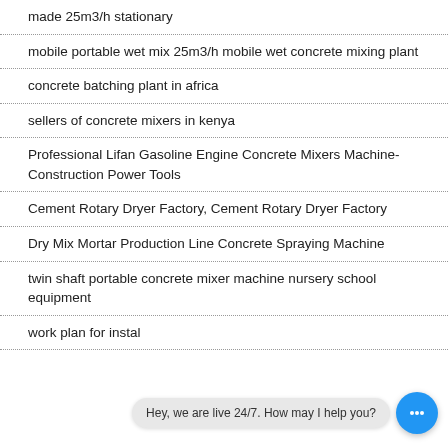made 25m3/h stationary
mobile portable wet mix 25m3/h mobile wet concrete mixing plant
concrete batching plant in africa
sellers of concrete mixers in kenya
Professional Lifan Gasoline Engine Concrete Mixers Machine-Construction Power Tools
Cement Rotary Dryer Factory, Cement Rotary Dryer Factory
Dry Mix Mortar Production Line Concrete Spraying Machine
twin shaft portable concrete mixer machine nursery school equipment
work plan for instal…